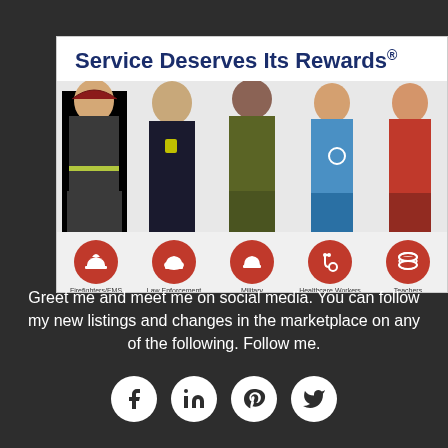[Figure (photo): Service Deserves Its Rewards promotional image showing a firefighter, law enforcement officer, military soldier, healthcare worker, and teacher standing together. Below them are five red circular icons representing each group: Firefighters/EMS, Law Enforcement, Military, Healthcare Workers, Teachers.]
Greet me and meet me on social media. You can follow my new listings and changes in the marketplace on any of the following. Follow me.
[Figure (infographic): Four social media icons in white circles on dark background: Facebook, LinkedIn, Pinterest, Twitter]